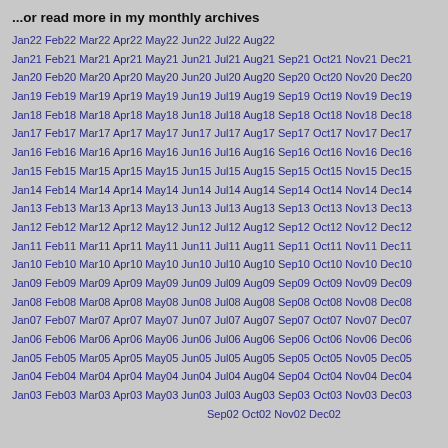...or read more in my monthly archives
Jan22 Feb22 Mar22 Apr22 May22 Jun22 Jul22 Aug22
Jan21 Feb21 Mar21 Apr21 May21 Jun21 Jul21 Aug21 Sep21 Oct21 Nov21 Dec21
Jan20 Feb20 Mar20 Apr20 May20 Jun20 Jul20 Aug20 Sep20 Oct20 Nov20 Dec20
Jan19 Feb19 Mar19 Apr19 May19 Jun19 Jul19 Aug19 Sep19 Oct19 Nov19 Dec19
Jan18 Feb18 Mar18 Apr18 May18 Jun18 Jul18 Aug18 Sep18 Oct18 Nov18 Dec18
Jan17 Feb17 Mar17 Apr17 May17 Jun17 Jul17 Aug17 Sep17 Oct17 Nov17 Dec17
Jan16 Feb16 Mar16 Apr16 May16 Jun16 Jul16 Aug16 Sep16 Oct16 Nov16 Dec16
Jan15 Feb15 Mar15 Apr15 May15 Jun15 Jul15 Aug15 Sep15 Oct15 Nov15 Dec15
Jan14 Feb14 Mar14 Apr14 May14 Jun14 Jul14 Aug14 Sep14 Oct14 Nov14 Dec14
Jan13 Feb13 Mar13 Apr13 May13 Jun13 Jul13 Aug13 Sep13 Oct13 Nov13 Dec13
Jan12 Feb12 Mar12 Apr12 May12 Jun12 Jul12 Aug12 Sep12 Oct12 Nov12 Dec12
Jan11 Feb11 Mar11 Apr11 May11 Jun11 Jul11 Aug11 Sep11 Oct11 Nov11 Dec11
Jan10 Feb10 Mar10 Apr10 May10 Jun10 Jul10 Aug10 Sep10 Oct10 Nov10 Dec10
Jan09 Feb09 Mar09 Apr09 May09 Jun09 Jul09 Aug09 Sep09 Oct09 Nov09 Dec09
Jan08 Feb08 Mar08 Apr08 May08 Jun08 Jul08 Aug08 Sep08 Oct08 Nov08 Dec08
Jan07 Feb07 Mar07 Apr07 May07 Jun07 Jul07 Aug07 Sep07 Oct07 Nov07 Dec07
Jan06 Feb06 Mar06 Apr06 May06 Jun06 Jul06 Aug06 Sep06 Oct06 Nov06 Dec06
Jan05 Feb05 Mar05 Apr05 May05 Jun05 Jul05 Aug05 Sep05 Oct05 Nov05 Dec05
Jan04 Feb04 Mar04 Apr04 May04 Jun04 Jul04 Aug04 Sep04 Oct04 Nov04 Dec04
Jan03 Feb03 Mar03 Apr03 May03 Jun03 Jul03 Aug03 Sep03 Oct03 Nov03 Dec03
Sep02 Oct02 Nov02 Dec02